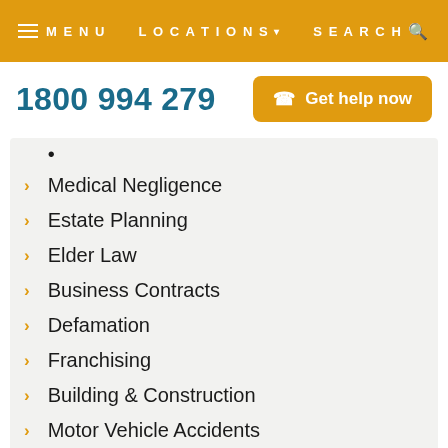MENU  LOCATIONS  SEARCH
1800 994 279
Get help now
Medical Negligence
Estate Planning
Elder Law
Business Contracts
Defamation
Franchising
Building & Construction
Motor Vehicle Accidents
Firm News
COVID-19
Videos